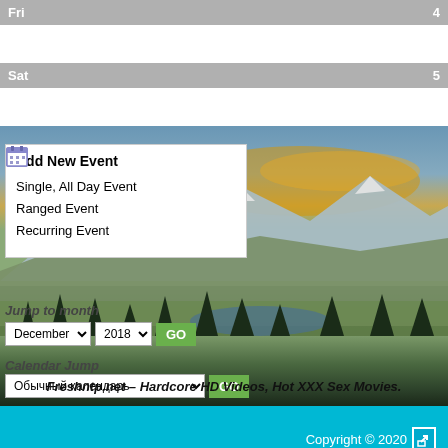Fri   4
Sat   5
[Figure (screenshot): Calendar web application screenshot showing a mountain landscape background with an 'Add New Event' popup menu listing Single All Day Event, Ranged Event, and Recurring Event options. Below the photo are UI controls: Jump to month with December 2018 dropdowns and GO button, Calendar Jump with Обычный календарь dropdown and GO button. A watermark text reads Freshntp.net - Hardcore HD Videos, Hot XXX Sex Movies.]
Copyright © 2020